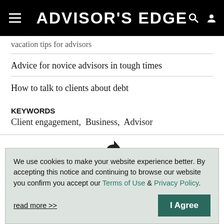ADVISOR'S EDGE
Vacation tips for advisors
Advice for novice advisors in tough times
How to talk to clients about debt
KEYWORDS
Client engagement,  Business,  Advisor
We use cookies to make your website experience better. By accepting this notice and continuing to browse our website you confirm you accept our Terms of Use & Privacy Policy.
read more >>